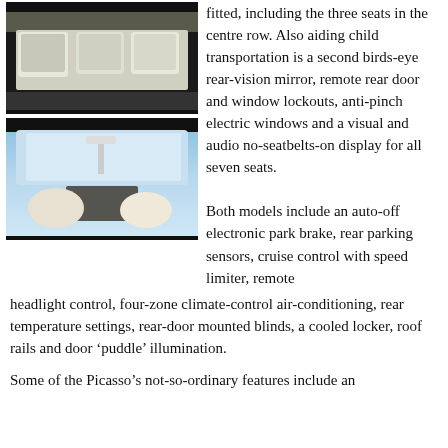[Figure (photo): Interior view of a car showing three rows of seats from a side/top angle, with light-colored upholstery.]
[Figure (photo): Interior panoramic roof view of a car with two people (man and woman) looking up and smiling, with sky visible through large glass roof.]
fitted, including the three seats in the centre row. Also aiding child transportation is a second birds-eye rear-vision mirror, remote rear door and window lockouts, anti-pinch electric windows and a visual and audio no-seatbelts-on display for all seven seats.
Both models include an auto-off electronic park brake, rear parking sensors, cruise control with speed limiter, remote headlight control, four-zone climate-control air-conditioning, rear temperature settings, rear-door mounted blinds, a cooled locker, roof rails and door ‘puddle’ illumination.
Some of the Picasso’s not-so-ordinary features include an